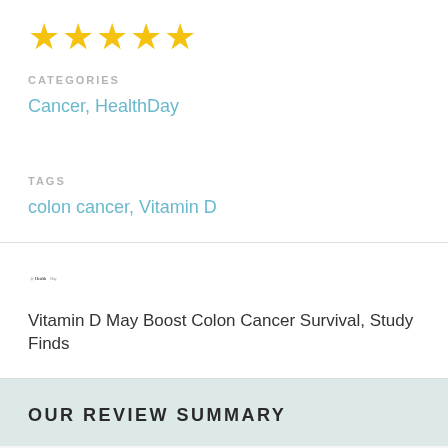[Figure (other): Five gold star rating icons]
CATEGORIES
Cancer, HealthDay
TAGS
colon cancer, Vitamin D
[Figure (logo): HealthDay logo with sun icon and stylized text]
Vitamin D May Boost Colon Cancer Survival, Study Finds
OUR REVIEW SUMMARY